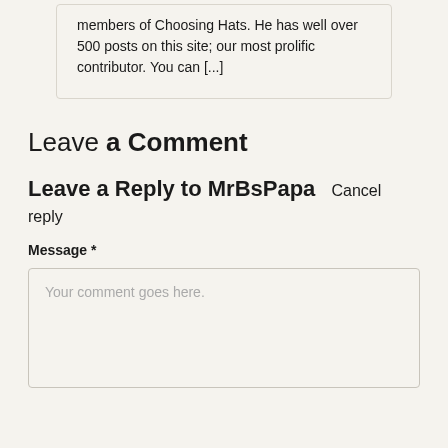members of Choosing Hats. He has well over 500 posts on this site; our most prolific contributor. You can [...]
Leave a Comment
Leave a Reply to MrBsPapa Cancel reply
Message *
Your comment goes here.